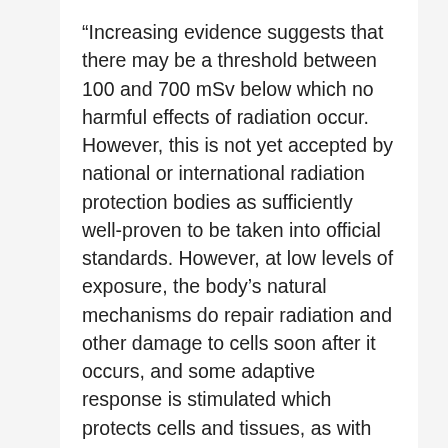“Increasing evidence suggests that there may be a threshold between 100 and 700 mSv below which no harmful effects of radiation occur. However, this is not yet accepted by national or international radiation protection bodies as sufficiently well-proven to be taken into official standards. However, at low levels of exposure, the body’s natural mechanisms do repair radiation and other damage to cells soon after it occurs, and some adaptive response is stimulated which protects cells and tissues, as with exposure to other external agents at low levels. The ICRP recommends that the LNT model should be assumed for the purpose of optimising radiation protection practices, but that it should not be used for estimating the health effects of exposures to small radiation doses received by large numbers of people over